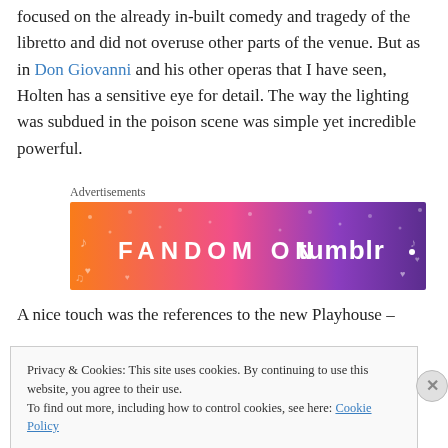focused on the already in-built comedy and tragedy of the libretto and did not overuse other parts of the venue. But as in Don Giovanni and his other operas that I have seen, Holten has a sensitive eye for detail. The way the lighting was subdued in the poison scene was simple yet incredible powerful.
Advertisements
[Figure (illustration): Fandom on Tumblr advertisement banner with orange-to-purple gradient background and music/fandom icons]
A nice touch was the references to the new Playhouse –
Privacy & Cookies: This site uses cookies. By continuing to use this website, you agree to their use.
To find out more, including how to control cookies, see here: Cookie Policy
Close and accept